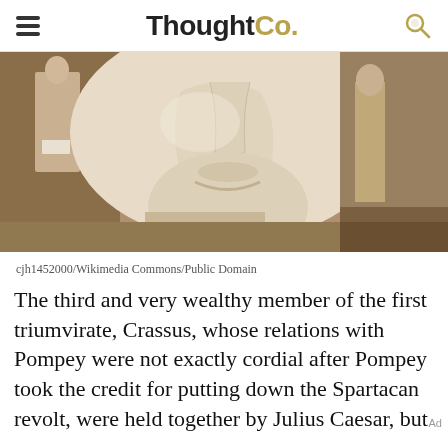ThoughtCo.
[Figure (photo): Close-up photograph of a large ancient Roman marble bust, showing the lower face and chin in detail, with other smaller statues visible in the background.]
cjh1452000/Wikimedia Commons/Public Domain
The third and very wealthy member of the first triumvirate, Crassus, whose relations with Pompey were not exactly cordial after Pompey took the credit for putting down the Spartacan revolt, were held together by Julius Caesar, but